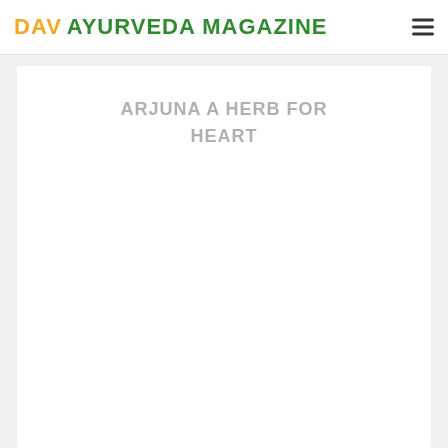DAV AYURVEDA MAGAZINE
ARJUNA A HERB FOR HEART